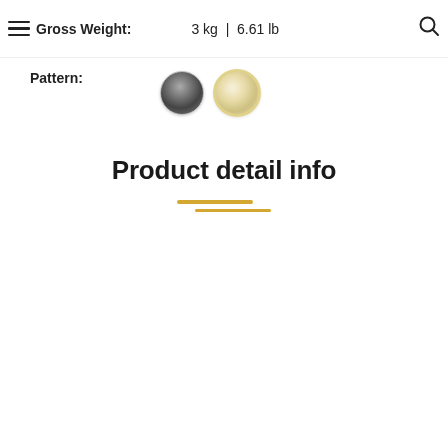Gross Weight: 3 kg | 6.61 lb
Pattern:
[Figure (photo): Two circular pattern swatches: one dark/grey with speckled texture, one light/cream/beige colored]
Product detail info